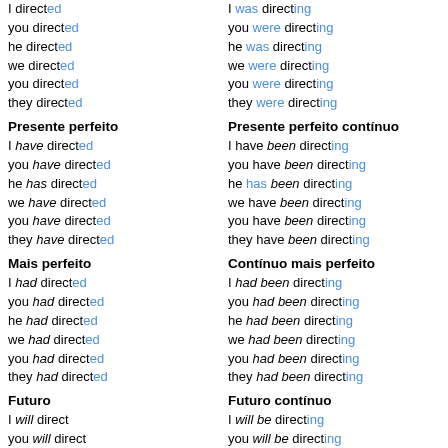I directed / I was directing
you directed / you were directing
he directed / he was directing
we directed / we were directing
you directed / you were directing
they directed / they were directing
Presente perfeito
Presente perfeito contínuo
I have directed / I have been directing
you have directed / you have been directing
he has directed / he has been directing
we have directed / we have been directing
you have directed / you have been directing
they have directed / they have been directing
Mais perfeito
Contínuo mais perfeito
I had directed / I had been directing
you had directed / you had been directing
he had directed / he had been directing
we had directed / we had been directing
you had directed / you had been directing
they had directed / they had been directing
Futuro
Futuro contínuo
I will direct / I will be directing
you will direct / you will be directing
he will direct / he will be directing